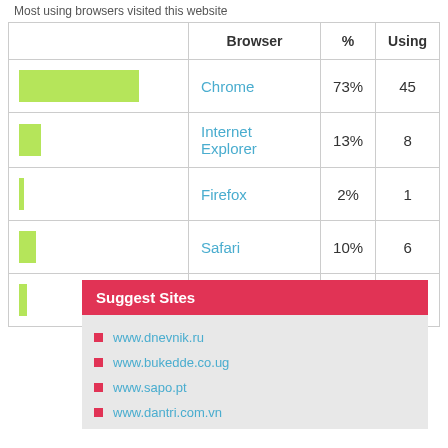Most using browsers visited this website
|  | Browser | % | Using |
| --- | --- | --- | --- |
| [bar:73%] | Chrome | 73% | 45 |
| [bar:13%] | Internet Explorer | 13% | 8 |
| [bar:2%] | Firefox | 2% | 1 |
| [bar:10%] | Safari | 10% | 6 |
| [bar:4%] | Opera | 4% | 2 |
Suggest Sites
www.dnevnik.ru
www.bukedde.co.ug
www.sapo.pt
www.dantri.com.vn